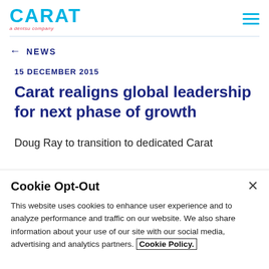CARAT a dentsu company
← NEWS
15 DECEMBER 2015
Carat realigns global leadership for next phase of growth
Doug Ray to transition to dedicated Carat
Cookie Opt-Out
This website uses cookies to enhance user experience and to analyze performance and traffic on our website. We also share information about your use of our site with our social media, advertising and analytics partners. Cookie Policy.